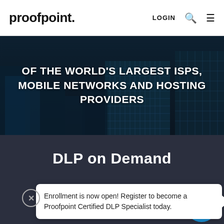proofpoint. LOGIN
[Figure (screenshot): Dark hero banner with cityscape background showing text: OF THE WORLD'S LARGEST ISPS, MOBILE NETWORKS AND HOSTING PROVIDERS]
DLP on Demand
Enrollment is now open! Register to become a Proofpoint Certified DLP Specialist today.